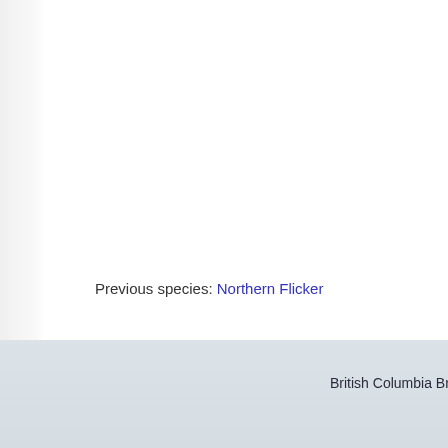Previous species: Northern Flicker
British Columbia Breed